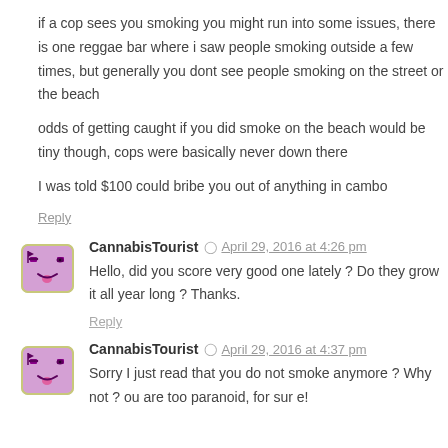if a cop sees you smoking you might run into some issues, there is one reggae bar where i saw people smoking outside a few times, but generally you dont see people smoking on the street or the beach
odds of getting caught if you did smoke on the beach would be tiny though, cops were basically never down there
I was told $100 could bribe you out of anything in cambo
Reply
CannabisTourist  April 29, 2016 at 4:26 pm
Hello, did you score very good one lately ? Do they grow it all year long ? Thanks.
Reply
CannabisTourist  April 29, 2016 at 4:37 pm
Sorry I just read that you do not smoke anymore ? Why not ? ou are too paranoid, for sur e!